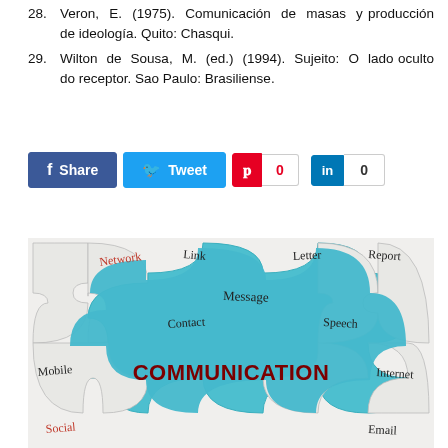28. Veron, E. (1975). Comunicación de masas y producción de ideología. Quito: Chasqui.
29. Wilton de Sousa, M. (ed.) (1994). Sujeito: O lado oculto do receptor. Sao Paulo: Brasiliense.
[Figure (illustration): Social media share buttons: Facebook Share, Twitter Tweet, Pinterest with count 0, LinkedIn with count 0]
[Figure (illustration): Communication puzzle image with pieces labeled: Network, Link, Letter, Message, Report, Contact, Speech, Mobile, Internet, Social, Email, and a large blue center piece with COMMUNICATION text in dark red.]